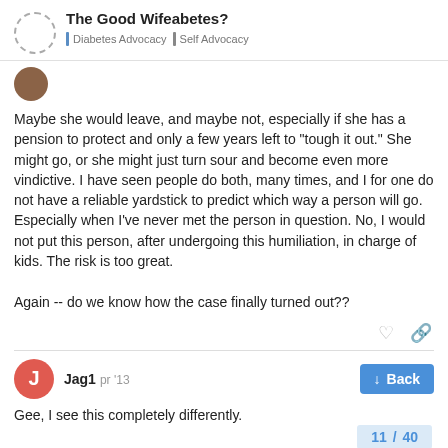The Good Wifeabetes? | Diabetes Advocacy | Self Advocacy
Maybe she would leave, and maybe not, especially if she has a pension to protect and only a few years left to "tough it out." She might go, or she might just turn sour and become even more vindictive. I have seen people do both, many times, and I for one do not have a reliable yardstick to predict which way a person will go. Especially when I've never met the person in question. No, I would not put this person, after undergoing this humiliation, in charge of kids. The risk is too great.

Again -- do we know how the case finally turned out??
Jag1
Gee, I see this completely differently.